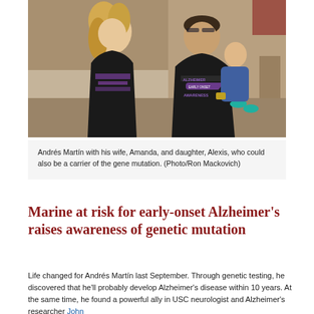[Figure (photo): Andrés Martin with his wife, Amanda, and daughter, Alexis, all wearing black Alzheimer's Early Onset Awareness t-shirts, standing outdoors.]
Andrés Martín with his wife, Amanda, and daughter, Alexis, who could also be a carrier of the gene mutation. (Photo/Ron Mackovich)
Marine at risk for early-onset Alzheimer's raises awareness of genetic mutation
Life changed for Andrés Martín last September. Through genetic testing, he discovered that he'll probably develop Alzheimer's disease within 10 years. At the same time, he found a powerful ally in USC neurologist and Alzheimer's researcher John